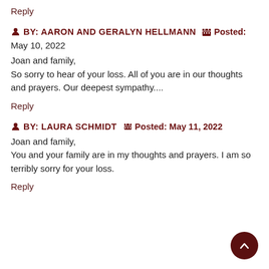Reply
BY: AARON AND GERALYN HELLMANN   Posted: May 10, 2022
Joan and family,
So sorry to hear of your loss. All of you are in our thoughts and prayers. Our deepest sympathy....
Reply
BY: LAURA SCHMIDT   Posted: May 11, 2022
Joan and family,
You and your family are in my thoughts and prayers. I am so terribly sorry for your loss.
Reply